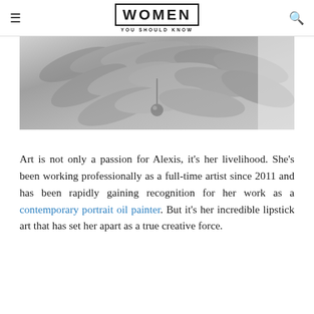WOMEN YOU SHOULD KNOW
[Figure (photo): Black and white photograph showing textured feathers or wing-like forms with a dangling spherical object, partial view cropped at top]
Art is not only a passion for Alexis, it’s her livelihood. She’s been working professionally as a full-time artist since 2011 and has been rapidly gaining recognition for her work as a contemporary portrait oil painter. But it’s her incredible lipstick art that has set her apart as a true creative force.